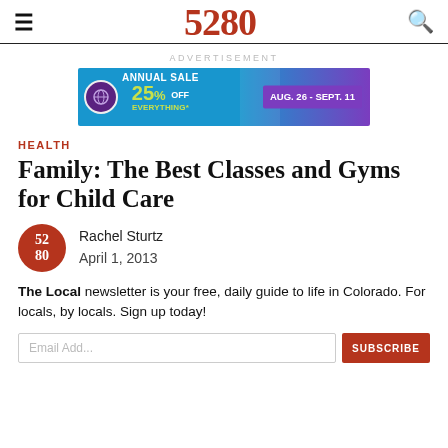5280
[Figure (infographic): Advertisement banner: Annual Sale 25% Off Everything, Aug. 26 - Sept. 11 for a racket sports store]
HEALTH
Family: The Best Classes and Gyms for Child Care
Rachel Sturtz
April 1, 2013
The Local newsletter is your free, daily guide to life in Colorado. For locals, by locals. Sign up today!